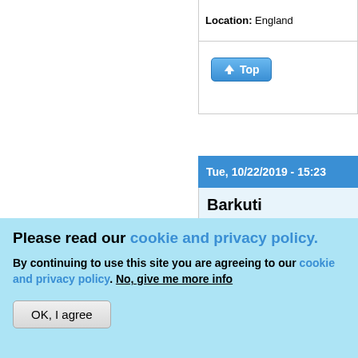Location: England
[Figure (screenshot): Top button linking to page top]
Tue, 10/22/2019 - 15:23
Barkuti
[Figure (photo): User avatar: bright light over dark ocean water]
Offline
Last seen: 4 days 1 hour ago
JasonWW
Please read our cookie and privacy policy.
By continuing to use this site you are agreeing to our cookie and privacy policy. No, give me more info
OK, I agree